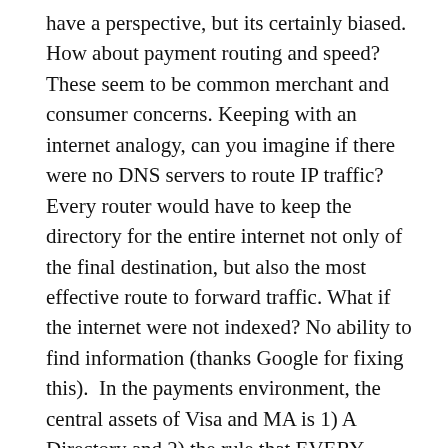have a perspective, but its certainly biased. How about payment routing and speed? These seem to be common merchant and consumer concerns. Keeping with an internet analogy, can you imagine if there were no DNS servers to route IP traffic? Every router would have to keep the directory for the entire internet not only of the final destination, but also the most effective route to forward traffic. What if the internet were not indexed? No ability to find information (thanks Google for fixing this).  In the payments environment, the central assets of Visa and MA is 1) A Directory and 2) the rule that EVERY participant must route traffic through them (with a new PIN debit exception in US).